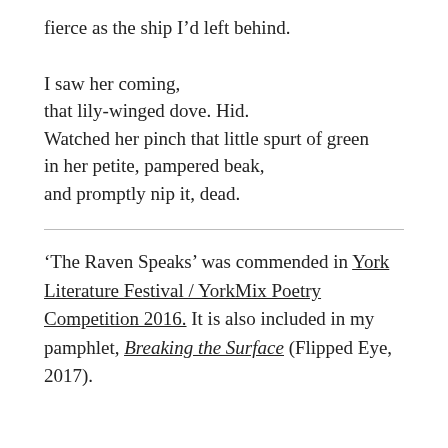fierce as the ship I'd left behind.
I saw her coming,
that lily-winged dove. Hid.
Watched her pinch that little spurt of green
in her petite, pampered beak,
and promptly nip it, dead.
‘The Raven Speaks’ was commended in York Literature Festival / YorkMix Poetry Competition 2016. It is also included in my pamphlet, Breaking the Surface (Flipped Eye, 2017).